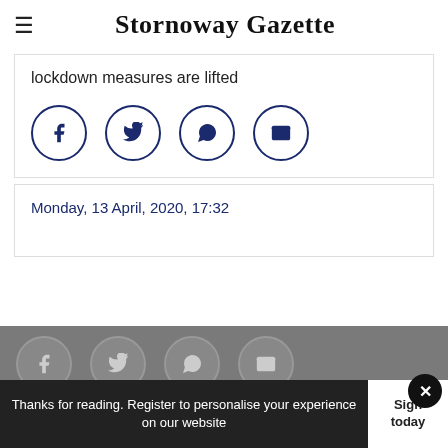Stornoway Gazette
lockdown measures are lifted
[Figure (other): Social share icons: Facebook, Twitter, WhatsApp, Email]
Monday, 13 April, 2020, 17:32
[Figure (other): Social share icons on gray background: Facebook, Twitter, WhatsApp, Email]
Thanks for reading. Register to personalise your experience on our website
Sign today